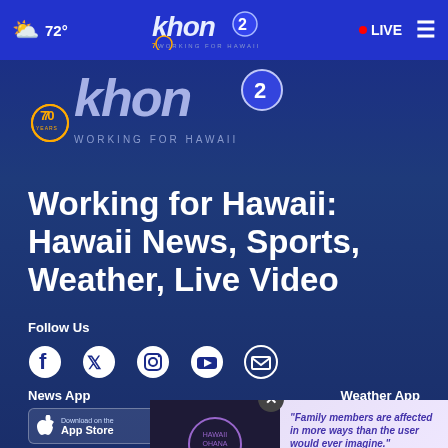72° | khon2 WORKING FOR HAWAII | LIVE
[Figure (logo): KHON2 70 years Working for Hawaii logo in large silver/blue text]
Working for Hawaii: Hawaii News, Sports, Weather, Live Video
Follow Us
[Figure (infographic): Social media icons: Facebook, Twitter, Instagram, YouTube, Email]
News App
Weather App
[Figure (screenshot): Download on the App Store and Google Play badges for News App and Weather App, with an ad overlay at the bottom: Family members are affected in more ways than the user would ever imagine. Call Hawaii CARES for help LEARN MORE]